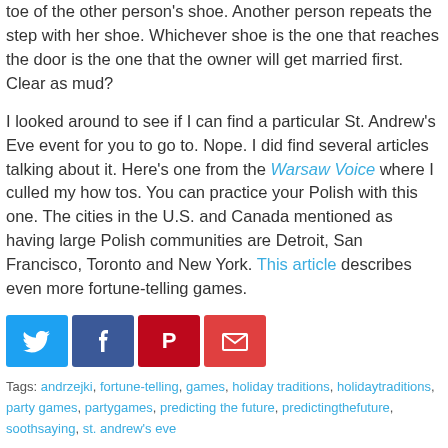toe of the other person's shoe. Another person repeats the step with her shoe. Whichever shoe is the one that reaches the door is the one that the owner will get married first. Clear as mud?
I looked around to see if I can find a particular St. Andrew's Eve event for you to go to. Nope. I did find several articles talking about it. Here's one from the Warsaw Voice where I culled my how tos. You can practice your Polish with this one. The cities in the U.S. and Canada mentioned as having large Polish communities are Detroit, San Francisco, Toronto and New York. This article describes even more fortune-telling games.
[Figure (infographic): Social sharing icons: Twitter (blue bird), Facebook (white f), Pinterest (white P), Email (white envelope)]
Tags: andrzejki, fortune-telling, games, holiday traditions, holidaytraditions, party games, partygames, predicting the future, predictingthefuture, soothsaying, st. andrew's eve